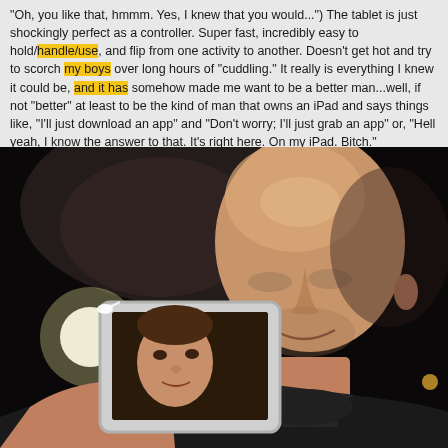"Oh, you like that, hmmm. Yes, I knew that you would...") The tablet is just shockingly perfect as a controller. Super fast, incredibly easy to hold/handle/use, and flip from one activity to another. Doesn't get hot and try to scorch my boys over long hours of "cuddling." It really is everything I knew it could be, and it has somehow made me want to be a better man...well, if not "better" at least to be the kind of man that owns an iPad and says things like, "I'll just download an app" and "Don't worry; I'll just grab an app" or, "Hell yeah, I know the answer to that. It's right here. On my iPad. Bitch."
[Figure (photo): Photo of a bald man in a black turtleneck holding up an iPad/tablet device, smiling. On the tablet screen is another person's face visible.]